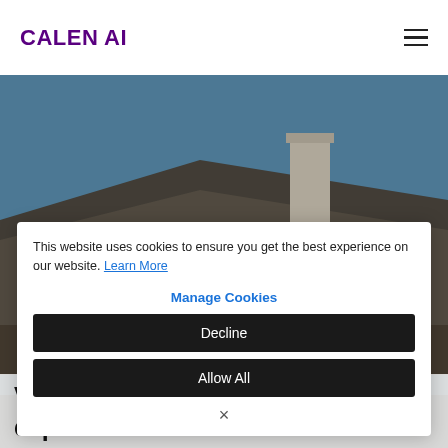CALEN AI
[Figure (photo): Background photo of a rooftop with grey/brown shingles and a white chimney against a blue sky, partially obscured by overlay]
This website uses cookies to ensure you get the best experience on our website. Learn More
Manage Cookies
Decline
Allow All
×
Virginia with over 12 years of experience.